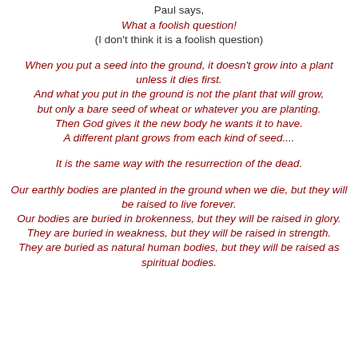Paul says,
What a foolish question! (I don't think it is a foolish question)
When you put a seed into the ground, it doesn't grow into a plant unless it dies first. And what you put in the ground is not the plant that will grow, but only a bare seed of wheat or whatever you are planting. Then God gives it the new body he wants it to have. A different plant grows from each kind of seed....
It is the same way with the resurrection of the dead.
Our earthly bodies are planted in the ground when we die, but they will be raised to live forever. Our bodies are buried in brokenness, but they will be raised in glory. They are buried in weakness, but they will be raised in strength. They are buried as natural human bodies, but they will be raised as spiritual bodies.